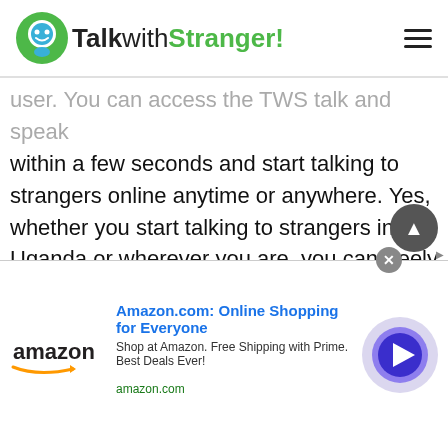TalkwithStranger!
user. You can access the TWS talk and speak within a few seconds and start talking to strangers online anytime or anywhere. Yes, whether you start talking to strangers in Uganda or wherever you are, you can freely text strangers without any limit. Yes, there is no limit when it comes to sending a text to random strangers.

Moreover, if you want to make your plain text interesting then you have so many things that help you spice up your conversation. For instance, you can send winks, jokes, quotes, interesting emojis, GIFs
[Figure (screenshot): Amazon advertisement banner: Amazon.com: Online Shopping for Everyone. Shop at Amazon. Free Shipping with Prime. Best Deals Ever! amazon.com]